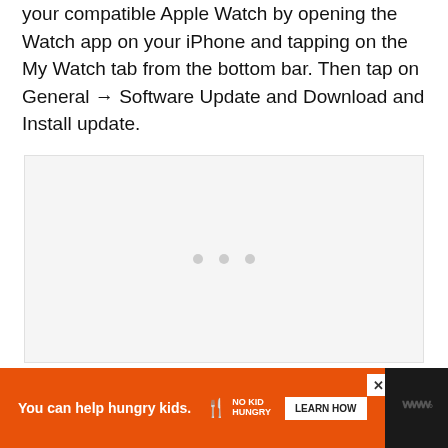your compatible Apple Watch by opening the Watch app on your iPhone and tapping on the My Watch tab from the bottom bar. Then tap on General → Software Update and Download and Install update.
[Figure (other): Gray placeholder content area with three small gray dots centered, indicating loading or carousel state]
[Figure (other): Advertisement banner: orange background with 'You can help hungry kids.' text, No Kid Hungry logo, and LEARN HOW button. Close X button top right. Dark footer bar with W logo on the right.]